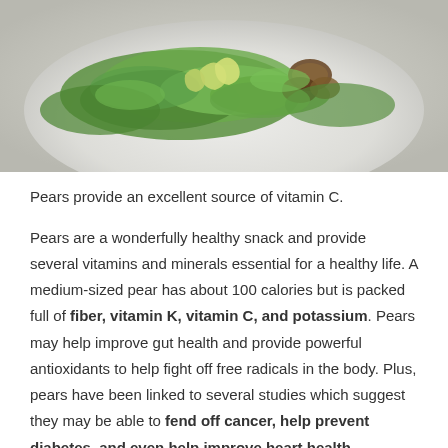[Figure (photo): A plate of salad with green leaves, pear slices, and walnuts on a white plate]
Pears provide an excellent source of vitamin C.
Pears are a wonderfully healthy snack and provide several vitamins and minerals essential for a healthy life. A medium-sized pear has about 100 calories but is packed full of fiber, vitamin K, vitamin C, and potassium. Pears may help improve gut health and provide powerful antioxidants to help fight off free radicals in the body. Plus, pears have been linked to several studies which suggest they may be able to fend off cancer, help prevent diabetes, and even help improve heart health.
Conclusion
Pear trees are popular throughout the world because they stay relatively small and produce beautiful flowers, and often bear edible